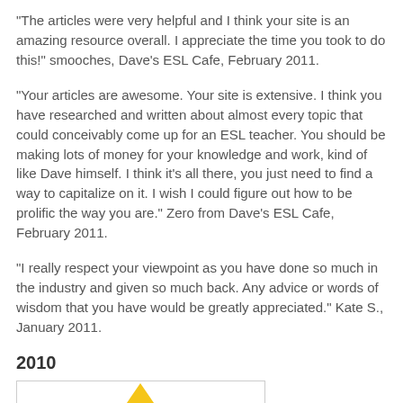"The articles were very helpful and I think your site is an amazing resource overall. I appreciate the time you took to do this!" smooches, Dave's ESL Cafe, February 2011.
"Your articles are awesome. Your site is extensive. I think you have researched and written about almost every topic that could conceivably come up for an ESL teacher. You should be making lots of money for your knowledge and work, kind of like Dave himself. I think it's all there, you just need to find a way to capitalize on it. I wish I could figure out how to be prolific the way you are." Zero from Dave's ESL Cafe, February 2011.
"I really respect your viewpoint as you have done so much in the industry and given so much back. Any advice or words of wisdom that you have would be greatly appreciated." Kate S., January 2011.
2010
[Figure (illustration): Partial view of an image with a yellow triangle shape on white background, bordered by a light grey rectangle border.]